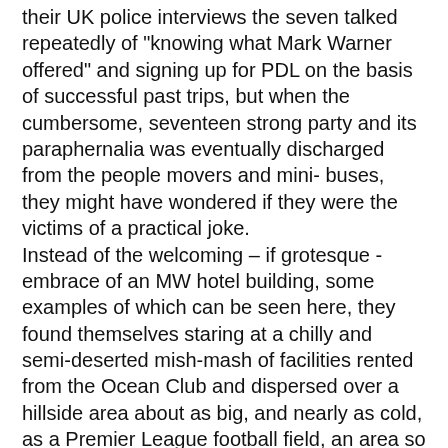their UK police interviews the seven talked repeatedly of "knowing what Mark Warner offered" and signing up for PDL on the basis of successful past trips, but when the cumbersome, seventeen strong party and its paraphernalia was eventually discharged from the people movers and mini-buses, they might have wondered if they were the victims of a practical joke. Instead of the welcoming – if grotesque - embrace of an MW hotel building, some examples of which can be seen here, they found themselves staring at a chilly and semi-deserted mish-mash of facilities rented from the Ocean Club and dispersed over a hillside area about as big, and nearly as cold, as a Premier League football field, an area so large, indeed, that the group had been unable to find each other on arrival and had resorted to making contact via text messages. True there were the famous cordon sanitaire MW gates but their accommodation, and thus their supervision and security, was beyond the walls, in apartment blocks further up the hill. This was not exactly the realization of past dreams – the early morning gleeful dash in the sunlight from the door of your thatched chalet, past the palms and into the communal pool; on the contrary the doors of the ground floor